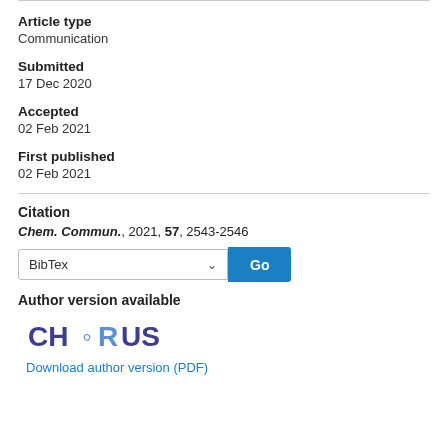Article type
Communication
Submitted
17 Dec 2020
Accepted
02 Feb 2021
First published
02 Feb 2021
Citation
Chem. Commun., 2021, 57, 2543-2546
BibTex | Go
Author version available
[Figure (logo): CHORUS logo in blue/navy text]
Download author version (PDF)